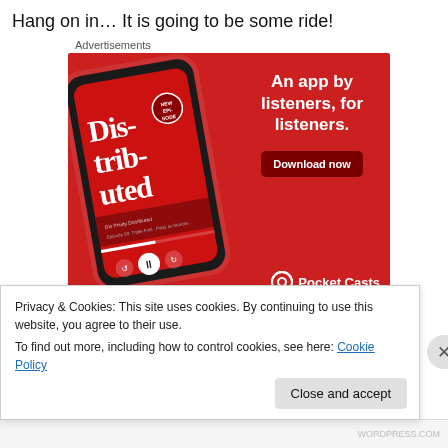Hang on in… It is going to be some ride!
Advertisements
[Figure (illustration): Pocket Casts app advertisement on red background showing a smartphone with 'Dis-trib-uted' podcast, headline 'An app by listeners, for listeners.', a 'Download now' button, and the Pocket Casts logo.]
Privacy & Cookies: This site uses cookies. By continuing to use this website, you agree to their use.
To find out more, including how to control cookies, see here: Cookie Policy
Close and accept